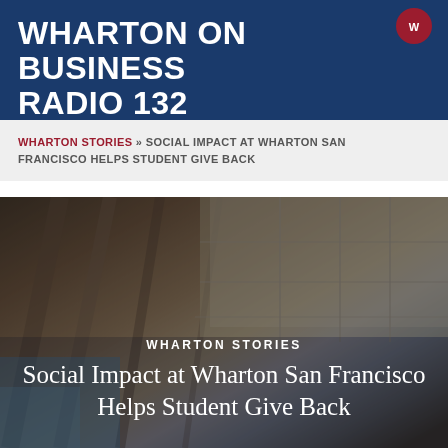WHARTON ON BUSINESS RADIO 132
WHARTON STORIES » SOCIAL IMPACT AT WHARTON SAN FRANCISCO HELPS STUDENT GIVE BACK
[Figure (photo): Architectural photo of Wharton San Francisco building interior/exterior showing metallic ceiling panels and structural elements with blue sky visible, with overlaid text 'WHARTON STORIES' and 'Social Impact at Wharton San Francisco Helps Student Give Back']